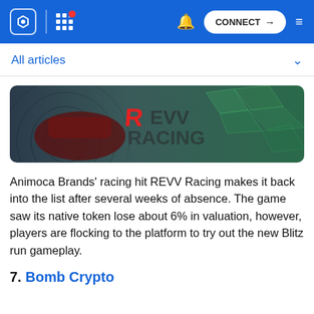CONNECT
All articles
[Figure (photo): REVV Racing banner image with a red racing car and the REVV Racing logo text on a dark teal/green background with geometric patterns]
Animoca Brands' racing hit REVV Racing makes it back into the list after several weeks of absence. The game saw its native token lose about 6% in valuation, however, players are flocking to the platform to try out the new Blitz run gameplay.
7. Bomb Crypto